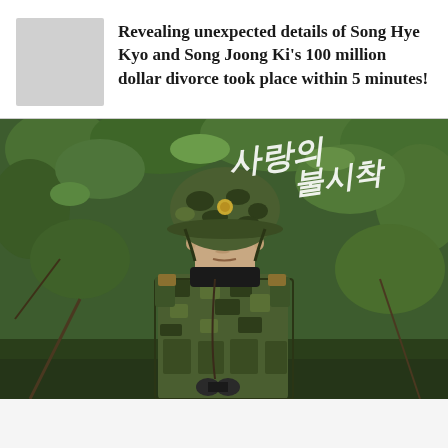Revealing unexpected details of Song Hye Kyo and Song Joong Ki's 100 million dollar divorce took place within 5 minutes!
[Figure (photo): A man dressed in military camouflage uniform and helmet standing in a forested area. Korean text overlay reads in stylized script. Still image from the Korean drama 'Crash Landing on You'.]